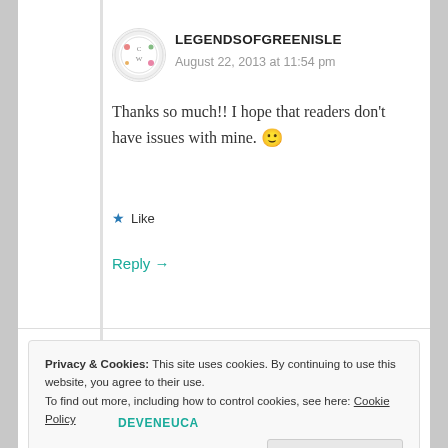LEGENDSOFGREENISLE
August 22, 2013 at 11:54 pm
Thanks so much!! I hope that readers don't have issues with mine. 🙂
★ Like
Reply →
Privacy & Cookies: This site uses cookies. By continuing to use this website, you agree to their use. To find out more, including how to control cookies, see here: Cookie Policy
Close and accept
DEVENEUCA